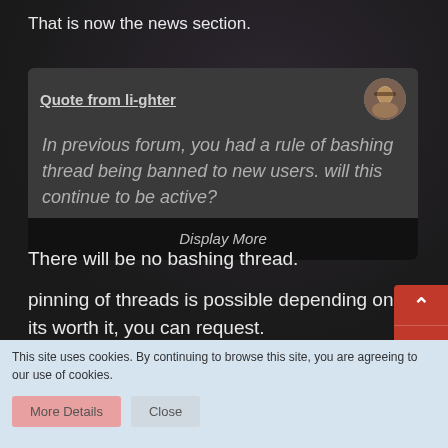That is now the news section.
Quote from li-ghter
In previous forum, you had a rule of bashing thread being banned to new users. will this continue to be active?
Display More
There will be no bashing thread.
pinning of threads is possible depending on if its worth it, you can request.
This site uses cookies. By continuing to browse this site, you are agreeing to our use of cookies.